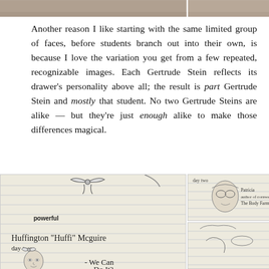[Figure (photo): Top edge of two student notebook/sketchbook photos cropped at the top of the page]
Another reason I like starting with the same limited group of faces, before students branch out into their own, is because I love the variation you get from a few repeated, recognizable images. Each Gertrude Stein reflects its drawer's personality above all; the result is part Gertrude Stein and mostly that student. No two Gertrude Steins are alike — but they're just enough alike to make those differences magical.
[Figure (photo): Bottom left: student notebook page showing handwritten text 'Huffington "Huffi" Mcguire day two' with 'powerful' printed, and a sketch of a face with a bow. Bottom right top: student notebook page with 'day two' handwritten, a face sketch, and 'Patricia author of cornell The Body Farm'. Bottom right bottom: partial student notebook page with sketch.]